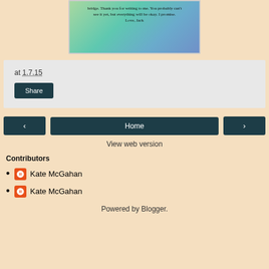[Figure (illustration): Book cover image with gradient background (green to blue) and italic text reading: 'bridge. Thank you for writing to me. You probably can't see it yet, but everything will be okay. I promise. Love, Jack']
at 1.7.15
Share
‹
Home
›
View web version
Contributors
Kate McGahan
Kate McGahan
Powered by Blogger.